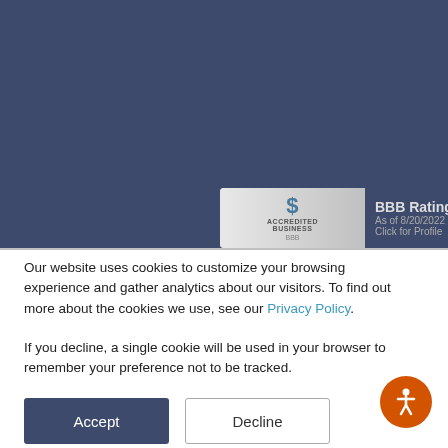[Figure (logo): BBB Accredited Business badge with rating A+ as of 8/20/2022, click for profile]
Our website uses cookies to customize your browsing experience and gather analytics about our visitors. To find out more about the cookies we use, see our Privacy Policy.
If you decline, a single cookie will be used in your browser to remember your preference not to be tracked.
[Figure (other): Accept and Decline buttons for cookie consent]
[Figure (other): Accessibility icon button (orange circle with person figure)]